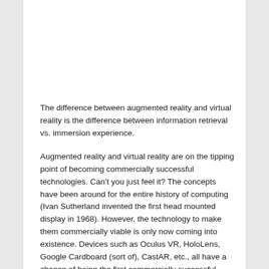The difference between augmented reality and virtual reality is the difference between information retrieval vs. immersion experience.
Augmented reality and virtual reality are on the tipping point of becoming commercially successful technologies. Can't you just feel it? The concepts have been around for the entire history of computing (Ivan Sutherland invented the first head mounted display in 1968). However, the technology to make them commercially viable is only now coming into existence. Devices such as Oculus VR, HoloLens, Google Cardboard (sort of), CastAR, etc., all have a chance of being the first commercially successful AR/VR device. Each product is unique in some way: different strengths, different weaknesses, different nuances. But for now, let's abstract away individual products and